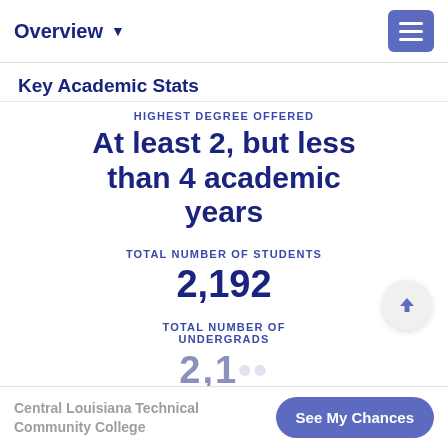Overview
Key Academic Stats
HIGHEST DEGREE OFFERED
At least 2, but less than 4 academic years
TOTAL NUMBER OF STUDENTS
2,192
TOTAL NUMBER OF UNDERGRADS
Central Louisiana Technical Community College
See My Chances